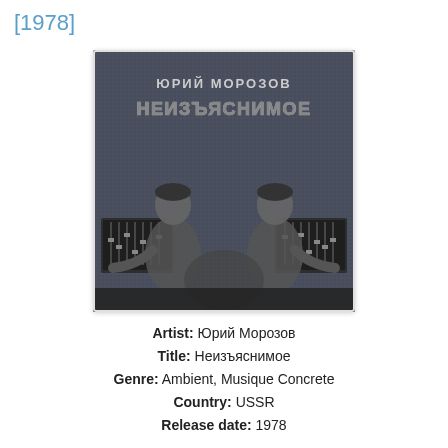[1978]
[Figure (illustration): Album cover for Неизъяснимое by Юрий Морозов (1978). Black and white photo of a man at a mixing console/synthesizer, mirrored symmetrically. Cyrillic text at top reads 'ЮРИЙ МОРОЗОВ' and 'НЕИЗЪЯСНИМОЕ' on a dark dotted background.]
Artist: Юрий Морозов
Title: Неизъяснимое
Genre: Ambient, Musique Concrete
Country: USSR
Release date: 1978